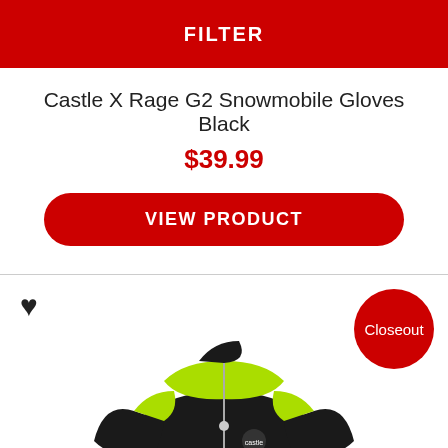FILTER
Castle X Rage G2 Snowmobile Gloves Black
$39.99
VIEW PRODUCT
[Figure (photo): A black and neon yellow/green Castle X snowmobile jacket shown from front angle, partially visible at bottom of page]
Closeout